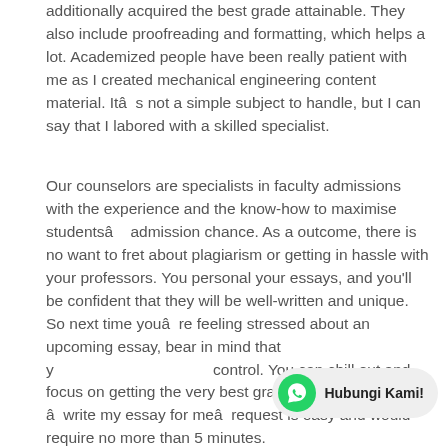additionally acquired the best grade attainable. They also include proofreading and formatting, which helps a lot. Academized people have been really patient with me as I created mechanical engineering content material. Itâs not a simple subject to handle, but I can say that I labored with a skilled specialist.
Our counselors are specialists in faculty admissions with the experience and the know-how to maximise studentsâ admission chance. As a outcome, there is no want to fret about plagiarism or getting in hassle with your professors. You personal your essays, and you'll be confident that they will be well-written and unique. So next time youâre feeling stressed about an upcoming essay, bear in mind that y... control. You can chill out and focus on getting the very best grade. The competition of âwrite my essay for meâ request is easy and would require no more than 5 minutes.